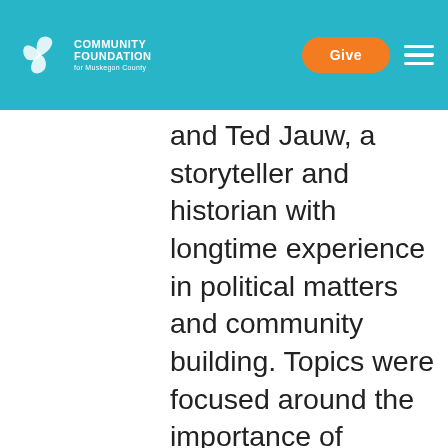Community Foundation for Muskegon County — Give
Associations of Michigan, and Ted Jauw, a storyteller and historian with longtime experience in political matters and community building. Topics were focused around the importance of completing the Census, voting, and having public spaces within neighborhoods to gather to share ideas and